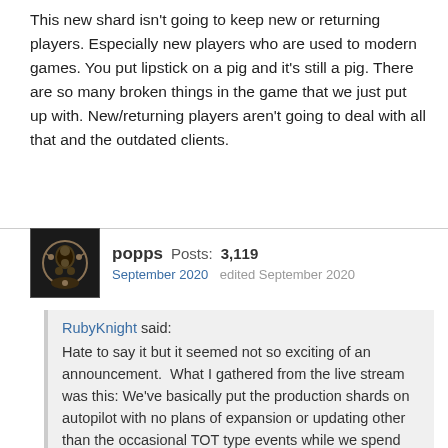This new shard isn't going to keep new or returning players. Especially new players who are used to modern games. You put lipstick on a pig and it's still a pig. There are so many broken things in the game that we just put up with. New/returning players aren't going to deal with all that and the outdated clients.
popps  Posts: 3,119
September 2020   edited September 2020
RubyKnight said:
Hate to say it but it seemed not so exciting of an announcement.  What I gathered from the live stream was this: We've basically put the production shards on autopilot with no plans of expansion or updating other than the occasional TOT type events while we spend the next year working on a project that will appeal to a small percentage of players. When? Soon.

Honestly I feel their pain, the dev's I mean. They get so much crap from us that they should at least be given an award for putting up with us. But honestly the "trailer" reminded me of UO2 with the dance battles. This, to me, was not something you hype